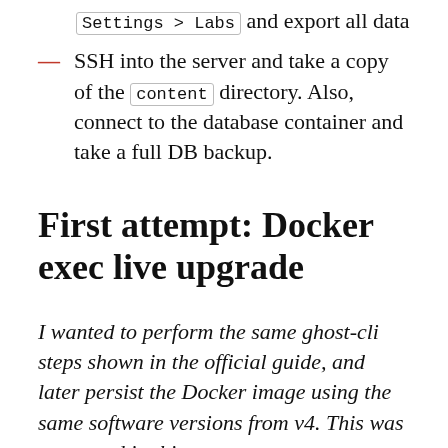Settings > Labs and export all data
SSH into the server and take a copy of the content directory. Also, connect to the database container and take a full DB backup.
First attempt: Docker exec live upgrade
I wanted to perform the same ghost-cli steps shown in the official guide, and later persist the Docker image using the same software versions from v4. This was suggested in this